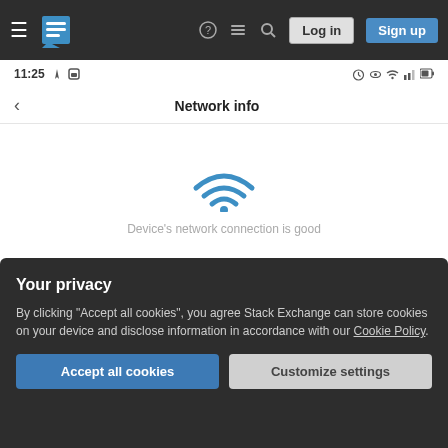[Figure (screenshot): Stack Exchange website navigation bar with hamburger menu, Stack Exchange logo, help icon, chat icon, search icon, Log in button, and Sign up button on dark background]
[Figure (screenshot): Android phone screen showing Network info page with status bar showing 11:25 time and icons, back arrow, Network info title, WiFi signal icon, text 'Device's network connection is good', Wi-Fi name row showing 43-10, and a cookie consent popup saying 'Your privacy' with Accept all cookies and Customize settings buttons]
Network info
Device's network connection is good
Wi-Fi name	43-10
Your privacy
By clicking "Accept all cookies", you agree Stack Exchange can store cookies on your device and disclose information in accordance with our Cookie Policy.
Accept all cookies
Customize settings